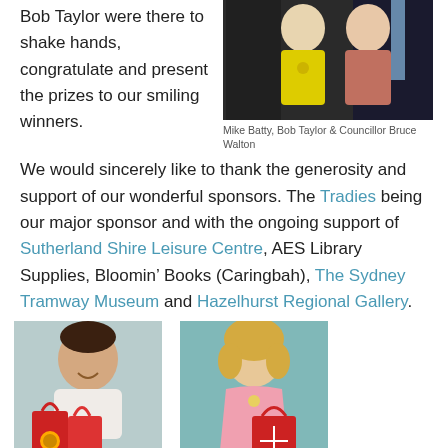Bob Taylor were there to shake hands, congratulate and present the prizes to our smiling winners.
[Figure (photo): Group photo showing two children with an adult in background, boy in yellow top and girl in patterned dress]
Mike Batty, Bob Taylor & Councillor Bruce Walton
We would sincerely like to thank the generosity and support of our wonderful sponsors. The Tradies being our major sponsor and with the ongoing support of Sutherland Shire Leisure Centre, AES Library Supplies, Bloomin’ Books (Caringbah), The Sydney Tramway Museum and Hazelhurst Regional Gallery.
[Figure (photo): Young boy holding red bags, smiling]
[Figure (photo): Young girl in pink dress holding red bag]